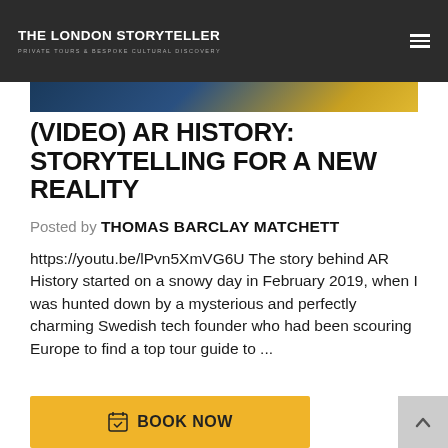THE LONDON STORYTELLER | PRIVATE TOURS & BESPOKE CULTURAL DISCOVERY
(VIDEO) AR HISTORY: STORYTELLING FOR A NEW REALITY
Posted by THOMAS BARCLAY MATCHETT
https://youtu.be/lPvn5XmVG6U The story behind AR History started on a snowy day in February 2019, when I was hunted down by a mysterious and perfectly charming Swedish tech founder who had been scouring Europe to find a top tour guide to ...